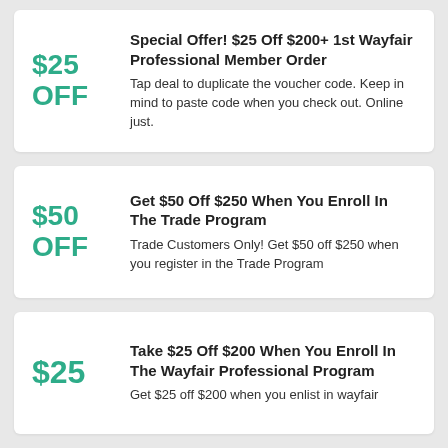$25 OFF
Special Offer! $25 Off $200+ 1st Wayfair Professional Member Order
Tap deal to duplicate the voucher code. Keep in mind to paste code when you check out. Online just.
$50 OFF
Get $50 Off $250 When You Enroll In The Trade Program
Trade Customers Only! Get $50 off $250 when you register in the Trade Program
$25
Take $25 Off $200 When You Enroll In The Wayfair Professional Program
Get $25 off $200 when you enlist in wayfair